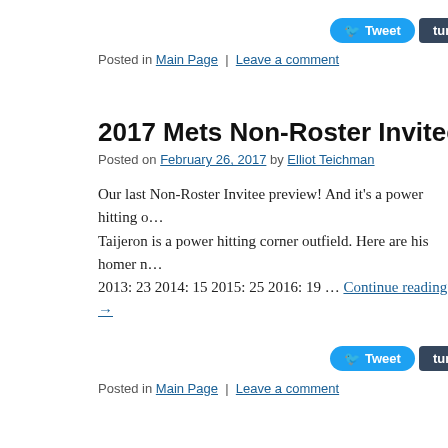[Figure (screenshot): Social sharing buttons: Tweet (Twitter), Tumblr, Digg This Story, reddit this]
Posted in Main Page | Leave a comment
2017 Mets Non-Roster Invitee Preview: Tr…
Posted on February 26, 2017 by Elliot Teichman
Our last Non-Roster Invitee preview! And it's a power hitting o… Taijeron is a power hitting corner outfield. Here are his homer n… 2013: 23 2014: 15 2015: 25 2016: 19 … Continue reading →
[Figure (screenshot): Social sharing buttons: Tweet (Twitter), Tumblr, Digg This Story, reddit this]
Posted in Main Page | Leave a comment
2017 Mets Non-Roster Invitee Preview: C…
Posted on February 25, 2017 by Elliot Teichman
The Baseball Prospectus 2017 Annual sums up my excitement a… beautifully and succinctly: "Champ Stuart, speed demon from th…